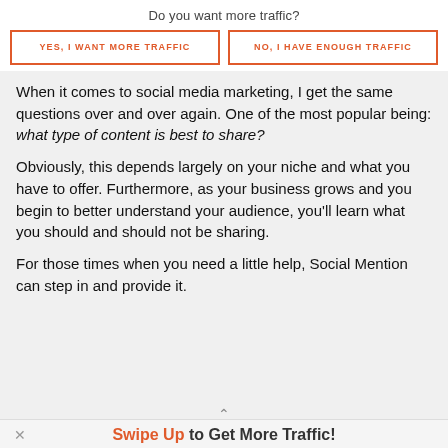Do you want more traffic?
YES, I WANT MORE TRAFFIC
NO, I HAVE ENOUGH TRAFFIC
When it comes to social media marketing, I get the same questions over and over again. One of the most popular being: what type of content is best to share?
Obviously, this depends largely on your niche and what you have to offer. Furthermore, as your business grows and you begin to better understand your audience, you'll learn what you should and should not be sharing.
For those times when you need a little help, Social Mention can step in and provide it.
Swipe Up to Get More Traffic!